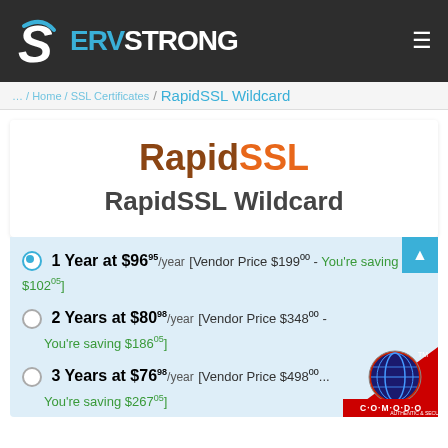SERVSTRONG
RapidSSL Wildcard
[Figure (logo): RapidSSL logo with brown 'Rapid' and orange 'SSL' text]
RapidSSL Wildcard
1 Year at $96.95/year [Vendor Price $199.00 - You're saving $102.05]
2 Years at $80.98/year [Vendor Price $348.00 - You're saving $186.05]
3 Years at $76.98/year [Vendor Price $498.00 - You're saving $267.05]